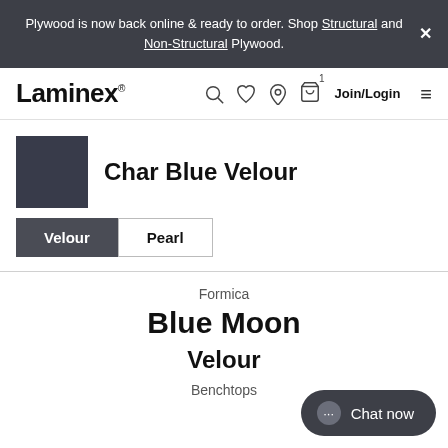Plywood is now back online & ready to order. Shop Structural and Non-Structural Plywood.
Laminex — Join/Login
Char Blue Velour
Velour | Pearl
Formica
Blue Moon
Velour
Benchtops
Chat now